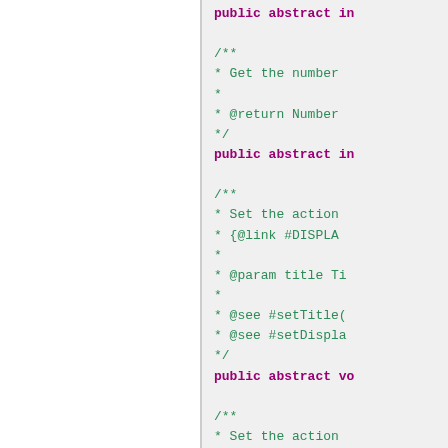Code snippet showing Java abstract method declarations with Javadoc comments including @return, @param, @see, and {@link} tags.